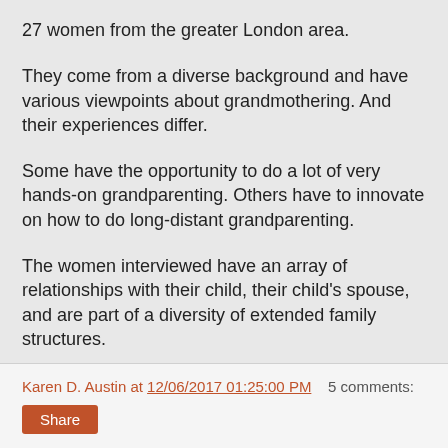27 women from the greater London area.
They come from a diverse background and have various viewpoints about grandmothering. And their experiences differ.
Some have the opportunity to do a lot of very hands-on grandparenting. Others have to innovate on how to do long-distant grandparenting.
The women interviewed have an array of relationships with their child, their child's spouse, and are part of a diversity of extended family structures.
The book is organized into the following sections:
Karen D. Austin at 12/06/2017 01:25:00 PM    5 comments: